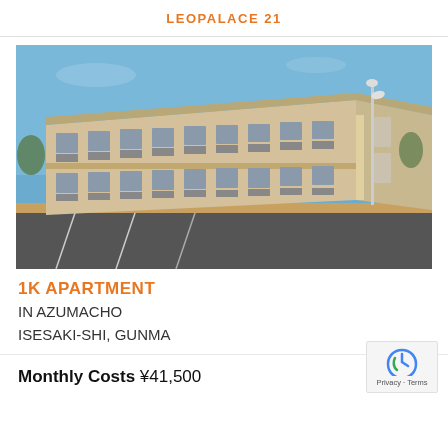LEOPALACE 21
[Figure (photo): Exterior photo of a two-story apartment building with beige/tan facade, multiple units with balconies and AC units, parking lot in foreground, blue sky background. Location: Azumacho, Isesaki-Shi, Gunma, Japan.]
1K APARTMENT
IN AZUMACHO
ISESAKI-SHI, GUNMA
Monthly Costs ¥41,500